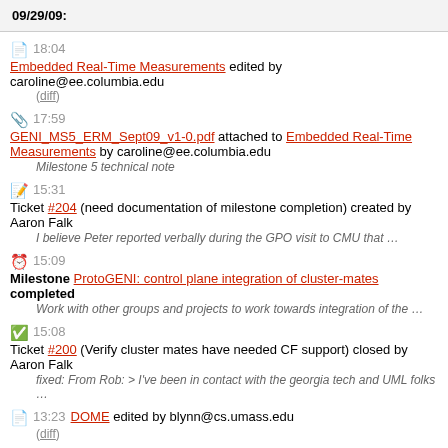09/29/09:
18:04 Embedded Real-Time Measurements edited by caroline@ee.columbia.edu (diff)
17:59 GENI_MS5_ERM_Sept09_v1-0.pdf attached to Embedded Real-Time Measurements by caroline@ee.columbia.edu — Milestone 5 technical note
15:31 Ticket #204 (need documentation of milestone completion) created by Aaron Falk — I believe Peter reported verbally during the GPO visit to CMU that …
15:09 Milestone ProtoGENI: control plane integration of cluster-mates completed — Work with other groups and projects to work towards integration of the …
15:08 Ticket #200 (Verify cluster mates have needed CF support) closed by Aaron Falk — fixed: From Rob: > I've been in contact with the georgia tech and UML folks …
13:23 DOME edited by blynn@cs.umass.edu (diff)
13:21 DOME edited by blynn@cs.umass.edu (diff)